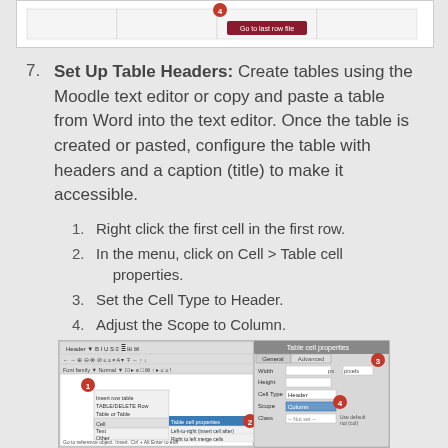[Figure (screenshot): Top portion of a document page screenshot showing a table interface with a red circled number 4 badge and a dark red button]
7. Set Up Table Headers: Create tables using the Moodle text editor or copy and paste a table from Word into the text editor. Once the table is created or pasted, configure the table with headers and a caption (title) to make it accessible.
1. Right click the first cell in the first row.
2. In the menu, click on Cell > Table cell properties.
3. Set the Cell Type to Header.
4. Adjust the Scope to Column.
5. Repeat for each additional header.
[Figure (screenshot): Screenshot showing Moodle text editor with a right-click context menu open showing Cell > Table cell properties option highlighted, and a Table cell properties dialog box with Cell type set to Header and Scope options, with numbered red badges 1, 2, 3, 4]